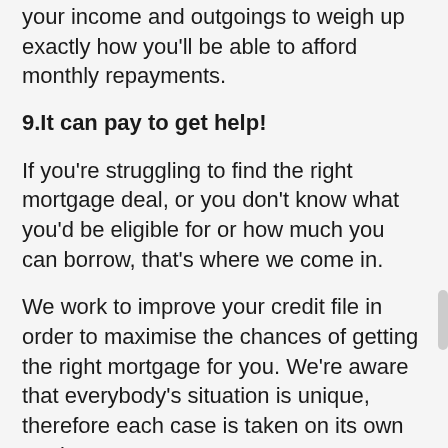your income and outgoings to weigh up exactly how you'll be able to afford monthly repayments.
9.It can pay to get help!
If you're struggling to find the right mortgage deal, or you don't know what you'd be eligible for or how much you can borrow, that's where we come in.
We work to improve your credit file in order to maximise the chances of getting the right mortgage for you. We're aware that everybody's situation is unique, therefore each case is taken on its own merits.
Give us a call today and let us get you mortgage ready for 2020!